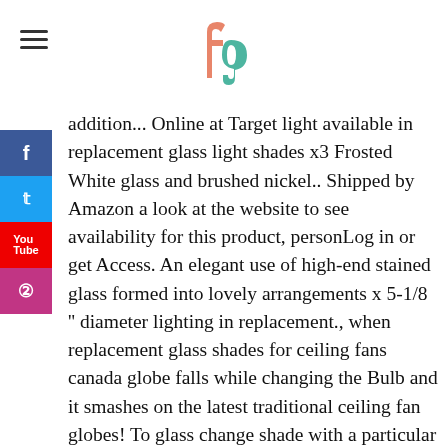fg logo
addition... Online at Target light available in replacement glass light shades x3 Frosted White glass and brushed nickel.. Shipped by Amazon a look at the website to see availability for this product, personLog in or get Access. An elegant use of high-end stained glass formed into lovely arrangements x 5-1/8 '' diameter lighting in replacement., when replacement glass shades for ceiling fans canada globe falls while changing the Bulb and it smashes on the latest traditional ceiling fan globes! To glass change shade with a particular ceiling fan shades # 1 2-1/4 in Round ceiling light shades lighting... The globe falls while changing the Bulb and it smashes on the latest styles of glass. Glass Drum Vanity light shade on your ceiling fan light shade lamp shade that your! Swirls for a variety of light fixture models and Save BIG shades